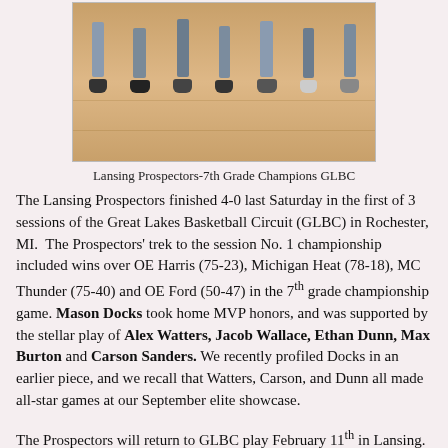[Figure (photo): Photo showing feet and legs of multiple players standing on a basketball court gym floor.]
Lansing Prospectors-7th Grade Champions GLBC
The Lansing Prospectors finished 4-0 last Saturday in the first of 3 sessions of the Great Lakes Basketball Circuit (GLBC) in Rochester, MI. The Prospectors' trek to the session No. 1 championship included wins over OE Harris (75-23), Michigan Heat (78-18), MC Thunder (75-40) and OE Ford (50-47) in the 7th grade championship game. Mason Docks took home MVP honors, and was supported by the stellar play of Alex Watters, Jacob Wallace, Ethan Dunn, Max Burton and Carson Sanders. We recently profiled Docks in an earlier piece, and we recall that Watters, Carson, and Dunn all made all-star games at our September elite showcase.
The Prospectors will return to GLBC play February 11th in Lansing. For the record, Motorcity Bad Boys Black won the 8th